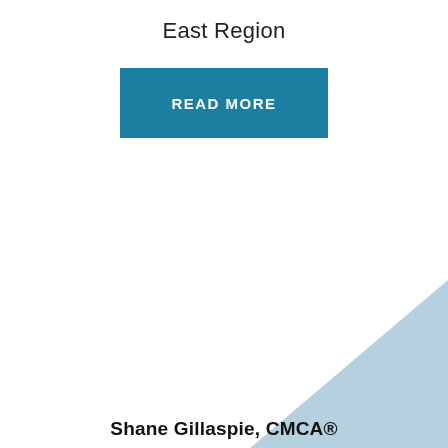East Region
[Figure (other): Teal/dark-cyan rectangular button with white bold text 'READ MORE']
[Figure (illustration): Light blue triangle pointing left, positioned in lower-right area of the page]
Shane Gillaspie, CMCA®